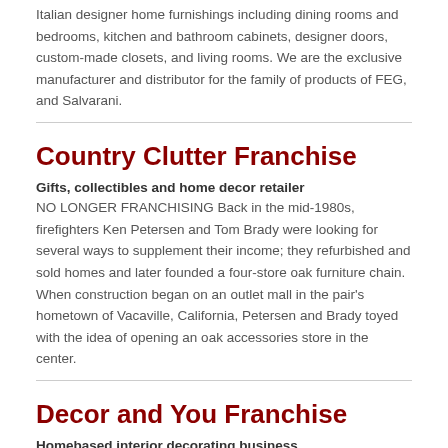Italian designer home furnishings including dining rooms and bedrooms, kitchen and bathroom cabinets, designer doors, custom-made closets, and living rooms. We are the exclusive manufacturer and distributor for the family of products of FEG, and Salvarani.
Country Clutter Franchise
Gifts, collectibles and home decor retailer
NO LONGER FRANCHISING Back in the mid-1980s, firefighters Ken Petersen and Tom Brady were looking for several ways to supplement their income; they refurbished and sold homes and later founded a four-store oak furniture chain. When construction began on an outlet mall in the pair's hometown of Vacaville, California, Petersen and Brady toyed with the idea of opening an oak accessories store in the center.
Decor and You Franchise
Homebased interior decorating business
As a DecorDesigner, you will help home owners and small